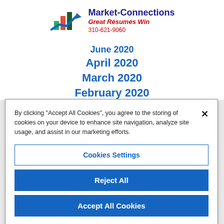[Figure (logo): Market-Connections logo with bar chart and blue arrow, text: Market-Connections, Great Résumés Win, 310-621-9060]
June 2020
April 2020
March 2020
February 2020
By clicking "Accept All Cookies", you agree to the storing of cookies on your device to enhance site navigation, analyze site usage, and assist in our marketing efforts.
Cookies Settings
Reject All
Accept All Cookies